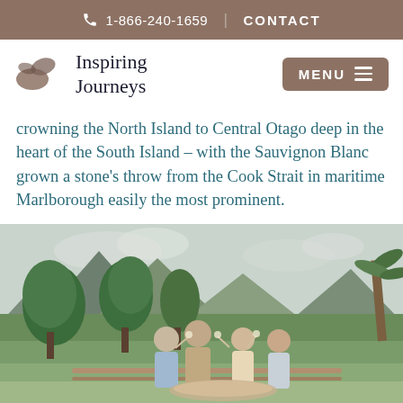1-866-240-1659   CONTACT
[Figure (logo): Inspiring Journeys logo with stylized wave/leaf icon and brand name text]
crowning the North Island to Central Otago deep in the heart of the South Island – with the Sauvignon Blanc grown a stone's throw from the Cook Strait in maritime Marlborough easily the most prominent.
[Figure (photo): Four people outdoors at a winery or garden setting, raising glasses of wine, with green trees and mountains in the background. A charcuterie/food platter is on the table in front of them.]